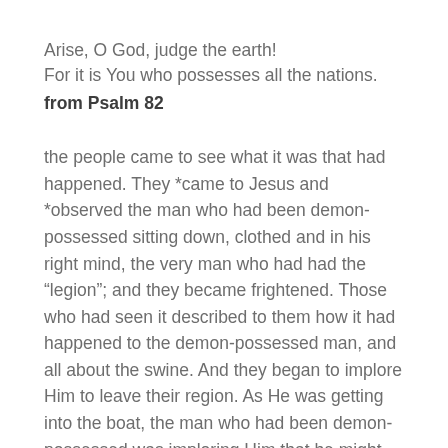Arise, O God, judge the earth!
For it is You who possesses all the nations.
from Psalm 82
the people came to see what it was that had happened. They *came to Jesus and *observed the man who had been demon-possessed sitting down, clothed and in his right mind, the very man who had had the “legion”; and they became frightened. Those who had seen it described to them how it had happened to the demon-possessed man, and all about the swine. And they began to implore Him to leave their region. As He was getting into the boat, the man who had been demon-possessed was imploring Him that he might accompany Him. And He did not let him, but He *said to him, “Go home to